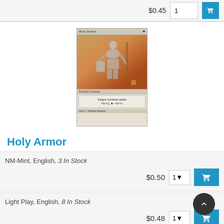$0.45
[Figure (illustration): Holy Armor Magic: The Gathering card showing an armored warrior figure. Card text reads: Target creature gains +0/+2, W: +0/+1. Illus. © Melissa Benson]
Holy Armor
NM-Mint, English, 3 In Stock
$0.50
Light Play, English, 8 In Stock
$0.48